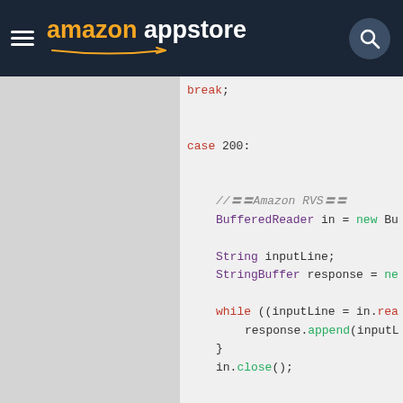amazon appstore (navigation bar)
[Figure (screenshot): Amazon Appstore navigation bar with hamburger menu icon, Amazon Appstore logo in orange and white, and a search icon on dark navy background]
break;

case 200:

    //〓〓Amazon RVS〓〓
    BufferedReader in = new Bu

    String inputLine;
    StringBuffer response = ne

    while ((inputLine = in.rea
        response.append(inputL
    }
    in.close();

    //〓〓Amazon RVS〓〓
    System.out.println("Amazon